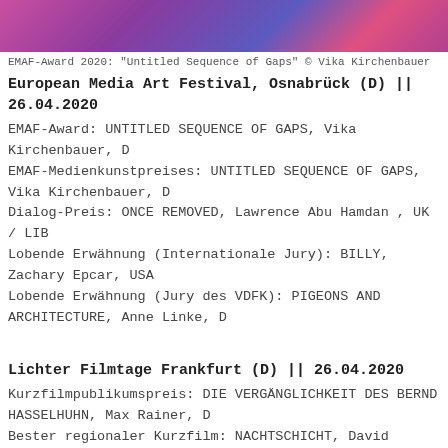[Figure (photo): Colorful abstract/artistic image with pink, purple and blue tones — EMAF-Award 2020 illustration]
EMAF-Award 2020: "Untitled Sequence of Gaps" © Vika Kirchenbauer
European Media Art Festival, Osnabrück (D) || 26.04.2020
EMAF-Award: UNTITLED SEQUENCE OF GAPS, Vika Kirchenbauer, D
EMAF-Medienkunstpreises: UNTITLED SEQUENCE OF GAPS, Vika Kirchenbauer, D
Dialog-Preis: ONCE REMOVED, Lawrence Abu Hamdan , UK / LIB
Lobende Erwähnung (Internationale Jury): BILLY, Zachary Epcar, USA
Lobende Erwähnung (Jury des VDFK): PIGEONS AND ARCHITECTURE, Anne Linke, D
Lichter Filmtage Frankfurt (D) || 26.04.2020
Kurzfilmpublikumspreis: DIE VERGÄNGLICHKEIT DES BERND HASSELHUHN, Max Rainer, D
Bester regionaler Kurzfilm: NACHTSCHICHT, David Dybeck, D